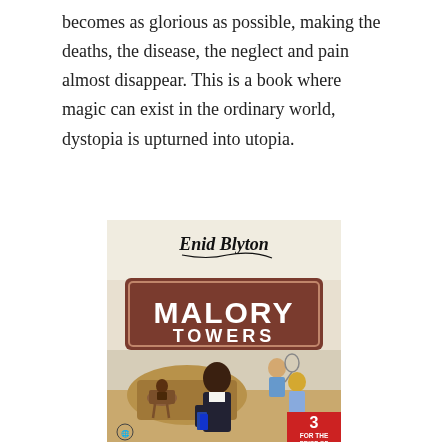becomes as glorious as possible, making the deaths, the disease, the neglect and pain almost disappear. This is a book where magic can exist in the ordinary world, dystopia is upturned into utopia.
[Figure (photo): A photograph of an Enid Blyton 'Malory Towers' book cover. The cover shows the title 'MALORY TOWERS' in large white text on a brown banner, with 'Enid Blyton' in cursive script at the top. The illustration features several schoolgirls, with one girl in the foreground holding books, another holding a tennis racket, and others on horseback in the background. A red corner badge reads '3 FOR THE PRICE OF 2'.]